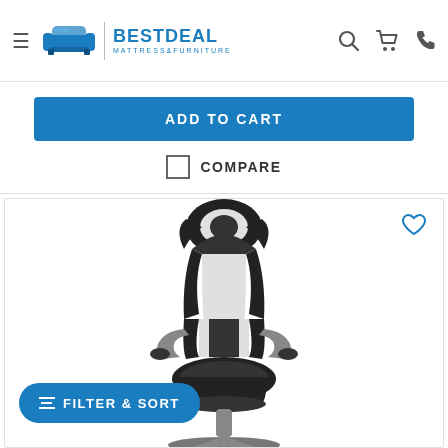[Figure (logo): BestDeal Mattress & Furniture logo with sofa icon and navigation icons]
ADD TO CART
COMPARE
[Figure (photo): Black and white executive gaming office chair with flip-up armrests and a heart/wishlist icon]
FILTER & SORT